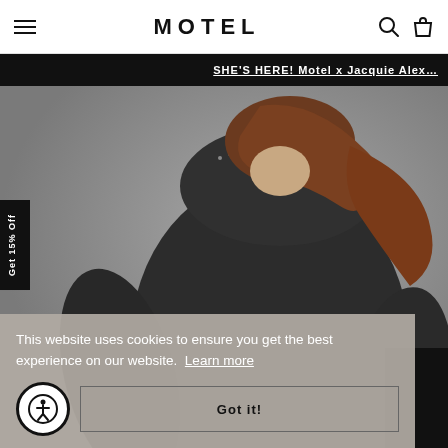MOTEL
SHE'S HERE! Motel x Jacquie Alex…
[Figure (photo): Woman wearing a dark charcoal long-sleeve fitted top, photographed from behind at an angle, against a grey background.]
Get 15% Off
This website uses cookies to ensure you get the best experience on our website. Learn more
Got it!